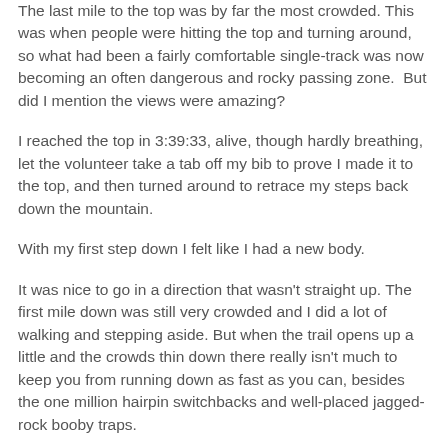The last mile to the top was by far the most crowded. This was when people were hitting the top and turning around, so what had been a fairly comfortable single-track was now becoming an often dangerous and rocky passing zone.  But did I mention the views were amazing?
I reached the top in 3:39:33, alive, though hardly breathing, let the volunteer take a tab off my bib to prove I made it to the top, and then turned around to retrace my steps back down the mountain.
With my first step down I felt like I had a new body.
It was nice to go in a direction that wasn't straight up. The first mile down was still very crowded and I did a lot of walking and stepping aside. But when the trail opens up a little and the crowds thin down there really isn't much to keep you from running down as fast as you can, besides the one million hairpin switchbacks and well-placed jagged-rock booby traps.
After about three miles of downhill I started to pick up some